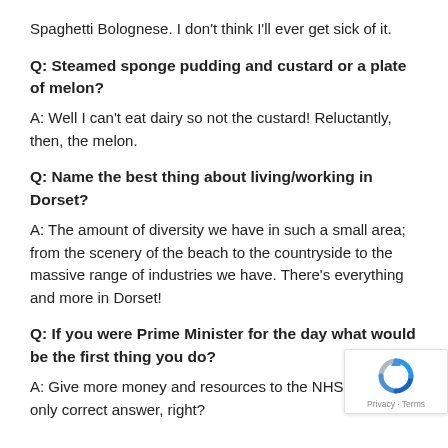Spaghetti Bolognese. I don't think I'll ever get sick of it.
Q: Steamed sponge pudding and custard or a plate of melon?
A: Well I can't eat dairy so not the custard! Reluctantly, then, the melon.
Q: Name the best thing about living/working in Dorset?
A: The amount of diversity we have in such a small area; from the scenery of the beach to the countryside to the massive range of industries we have. There's everything and more in Dorset!
Q: If you were Prime Minister for the day what would be the first thing you do?
A: Give more money and resources to the NHS. That's only correct answer, right?
[Figure (logo): reCAPTCHA badge with blue circular arrow icon and Privacy · Terms text]